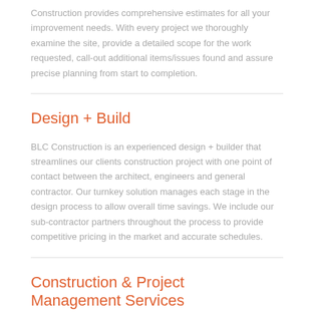Construction provides comprehensive estimates for all your improvement needs. With every project we thoroughly examine the site, provide a detailed scope for the work requested, call-out additional items/issues found and assure precise planning from start to completion.
Design + Build
BLC Construction is an experienced design + builder that streamlines our clients construction project with one point of contact between the architect, engineers and general contractor. Our turnkey solution manages each stage in the design process to allow overall time savings. We include our sub-contractor partners throughout the process to provide competitive pricing in the market and accurate schedules.
Construction & Project Management Services